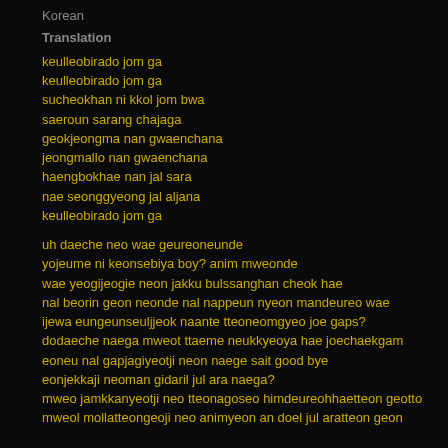Korean
Translation
keulleobirado jom ga
keulleobirado jom ga
sucheokhan ni kkol jom bwa
saeroun sarang chajaga
geokjeongma nan gwaenchana
jeongmallo nan gwaenchana
haengbokhae nan jal sara
nae seonggyeong jal aljana
keulleobirado jom ga
uh daeche neo wae geureoneunde
yojeume ni keonsebiya boy? anim mweonde
wae yeogijeogie neon jakku bulssanghan cheok hae
nal beorin geon neonde nal nappeun nyeon mandeureo wae
ijewa eungeunseuljeok naante tteoneomgyeo joe gaps?
dodaeche naega mweot ttaeme neukkyeoya hae joechaekgam
eoneu nal gapjagiyeotji neon naege sait good bye
eonjekkaji neoman gidaril jul ara naega?
mweo jamkkanyeotji neo tteonagoseo himdeureohhaetteon geotto
mweol mollatteongeoji neo animyeon an doel jul aratteon geon